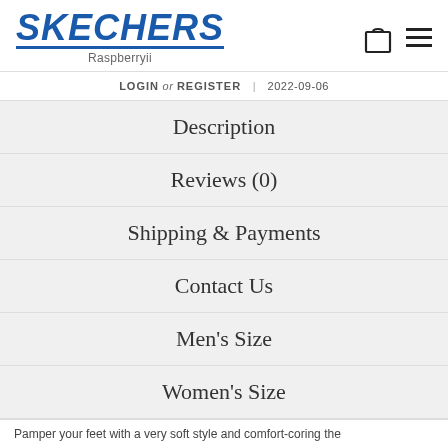SKECHERS Raspberryii
LOGIN or REGISTER | 2022-09-06
Description
Reviews (0)
Shipping & Payments
Contact Us
Men's Size
Women's Size
Pamper your feet with a very soft style and comfort-coring the